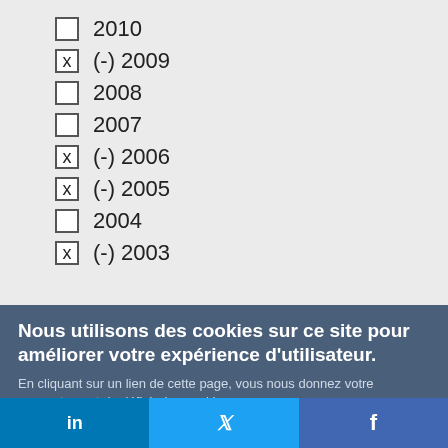2010
(-) 2009
2008
2007
(-) 2006
(-) 2005
2004
(-) 2003
Nous utilisons des cookies sur ce site pour améliorer votre expérience d'utilisateur.
En cliquant sur un lien de cette page, vous nous donnez votre consentement de définir des cookies.
Oui, je suis d'accord
Plus d'infos